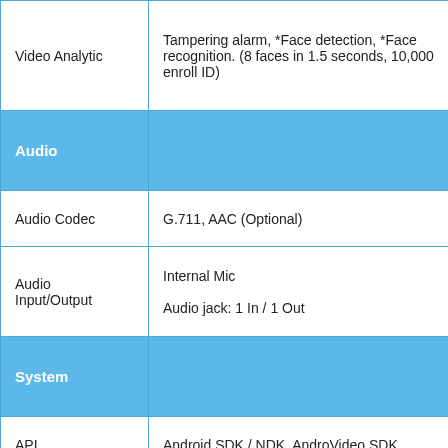| Feature | Details |
| --- | --- |
| Video Analytic | Tampering alarm, *Face detection, *Face recognition. (8 faces in 1.5 seconds, 10,000 enroll ID) |
| Audio |  |
| Audio Codec | G.711, AAC (Optional) |
| Audio Input/Output | Internal Mic
Audio jack: 1 In / 1 Out |
| System |  |
| API | Android SDK / NDK, AndroVideo SDK |
| ONVIF | Profile S |